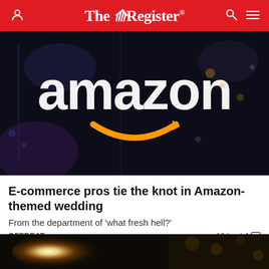The Register
[Figure (photo): Amazon store front at night with illuminated white Amazon logo and yellow smile arrow on dark glass background]
E-commerce pros tie the knot in Amazon-themed wedding
From the department of 'what fresh hell?'
OFFBEAT   19 hrs | 4 comments
[Figure (photo): Dark image with bright light flare, partially visible]